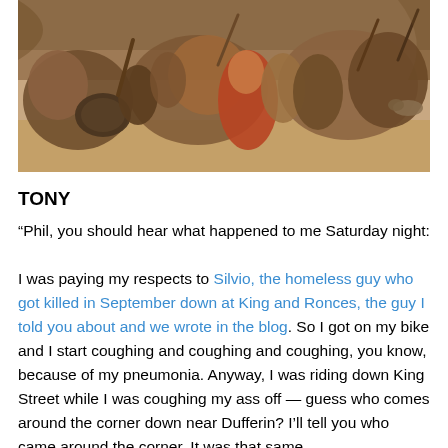[Figure (illustration): A classical painting or fresco depicting a chaotic battle or mythological scene with many figures in motion, rendered in earthy browns, reds, and beiges.]
TONY
“Phil, you should hear what happened to me Saturday night:

I was paying my respects to Silvio, the homeless guy who got killed in September down at King and Ronces, the guy I told you about and we wrote in the blog. So I got on my bike and I start coughing and coughing and coughing, you know, because of my pneumonia. Anyway, I was riding down King Street while I was coughing my ass off — guess who comes around the corner down near Dufferin? I’ll tell you who came around the corner. It was that same